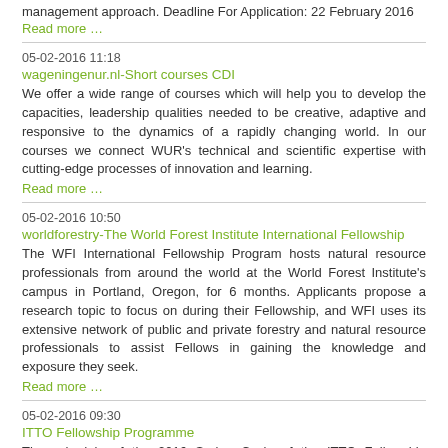management approach. Deadline For Application: 22 February 2016
Read more …
05-02-2016 11:18
wageningenur.nl-Short courses CDI
We offer a wide range of courses which will help you to develop the capacities, leadership qualities needed to be creative, adaptive and responsive to the dynamics of a rapidly changing world. In our courses we connect WUR's technical and scientific expertise with cutting-edge processes of innovation and learning.
Read more …
05-02-2016 10:50
worldforestry-The World Forest Institute International Fellowship
The WFI International Fellowship Program hosts natural resource professionals from around the world at the World Forest Institute's campus in Portland, Oregon, for 6 months. Applicants propose a research topic to focus on during their Fellowship, and WFI uses its extensive network of public and private forestry and natural resource professionals to assist Fellows in gaining the knowledge and exposure they seek.
Read more …
05-02-2016 09:30
ITTO Fellowship Programme
The schedule of the 2016 Spring Cycle of the ITTO Fellowship Programme has been established. The deadline for receipt of applications is 22 February 2016.  Fellowship activities are expected to start not earlier than 15 July 2016.
Read more …
05-02-2016 09:21
ITTO- Executive Director Deadline for applications: 30 April 2016